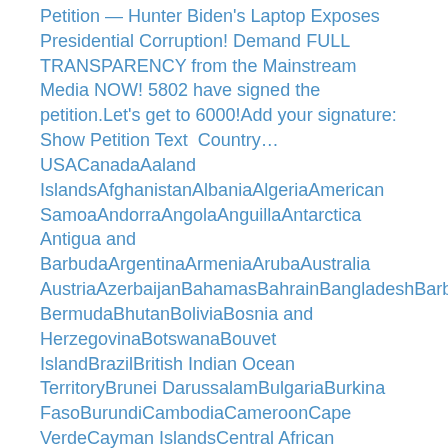Petition — Hunter Biden's Laptop Exposes Presidential Corruption! Demand FULL TRANSPARENCY from the Mainstream Media NOW! 5802 have signed the petition.Let's get to 6000!Add your signature:  Show Petition Text  Country…USACanadaAaland IslandsAfghanistanAlbaniaAlgeriaAmerican SamoaAndorraAngolaAnguillaAntarctica Antigua and BarbudaArgentinaArmeniaArubaAustralia AustriaAzerbaijanBahamasBahrainBangladeshBarbadosBelarusBelgiumBelizeBenin BermudaBhutanBoliviaBosnia and HerzegovinaBotswanaBouvet IslandBrazilBritish Indian Ocean TerritoryBrunei DarussalamBulgariaBurkina FasoBurundiCambodiaCameroonCape VerdeCayman IslandsCentral African RepublicChadChileChinaChristmas IslandCocos (Keeling) IslandsColombiaComorosCongoCook IslandsCosta RicaCote D'IvoireCroatiaCubaCuracaoCyprusCzec